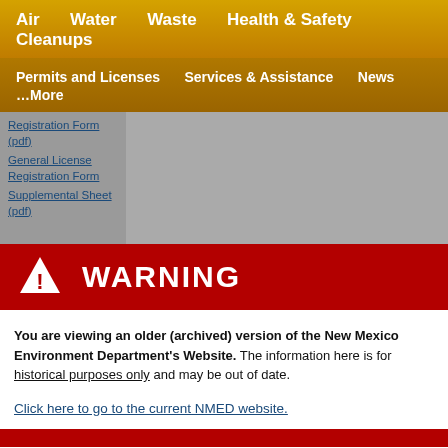Air   Water   Waste   Health & Safety   Cleanups
Permits and Licenses   Services & Assistance   News   …More
Registration Form (pdf)
General License Registration Form
Supplemental Sheet (pdf)
⚠ WARNING
You are viewing an older (archived) version of the New Mexico Environment Department's Website. The information here is for historical purposes only and may be out of date.
Click here to go to the current NMED website.